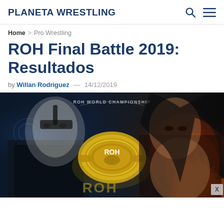PLANETA WRESTLING
Home > Pro Wrestling
ROH Final Battle 2019: Resultados
by Willan Rodriguez — 14/12/2019
[Figure (photo): Promotional image for ROH Final Battle 2019 showing two wrestlers flanking the ROH World Championship belt, with text ROH WORLD CHAMPIONSHIP and ROH logo visible]